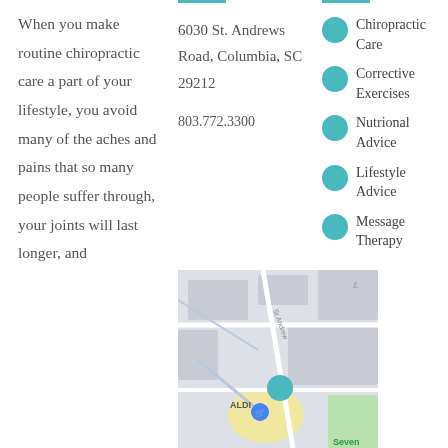When you make routine chiropractic care a part of your lifestyle, you avoid many of the aches and pains that so many people suffer through, your joints will last longer, and
6030 St. Andrews Road, Columbia, SC 29212
803.772.3300
Chiropractic Care
Corrective Exercises
Nutrional Advice
Lifestyle Advice
Message Therapy
[Figure (map): Street map showing location near 6030 St. Andrews Road, Columbia SC, with ALDI nearby and a teal map pin marker.]